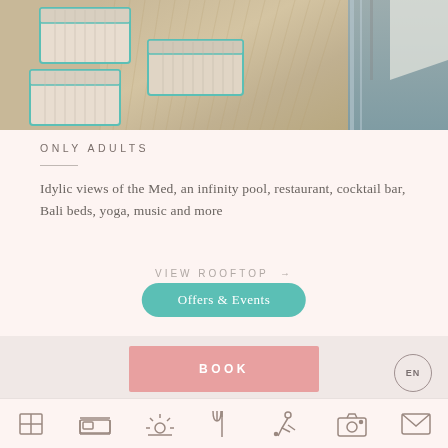[Figure (photo): Rooftop terrace with lounge chairs and sun beds with teal/turquoise metal frames, wooden deck flooring, and a view of the Mediterranean sea in the background.]
ONLY ADULTS
Idylic views of the Med, an infinity pool, restaurant, cocktail bar, Bali beds, yoga, music and more
VIEW ROOFTOP →
Offers & Events
BOOK
EN